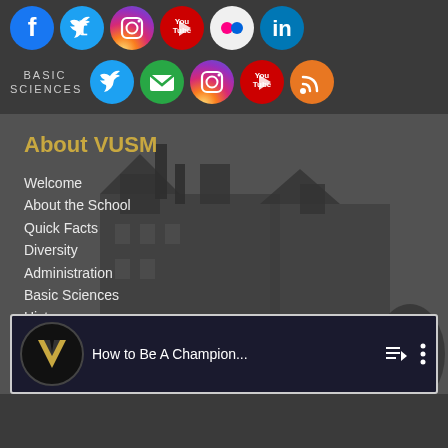[Figure (screenshot): Top row of social media icons: Facebook, Twitter, Instagram, YouTube, Flickr, LinkedIn on dark background]
[Figure (screenshot): Basic Sciences row with label and social icons: Twitter, Email, Instagram, YouTube, RSS]
About VUSM
Welcome
About the School
Quick Facts
Diversity
Administration
Basic Sciences
History
A-Z Directory
Contact Information
Campus Maps & Parking
[Figure (screenshot): Video thumbnail with Vanderbilt V logo and title 'How to Be A Champion...' with playlist and menu icons]